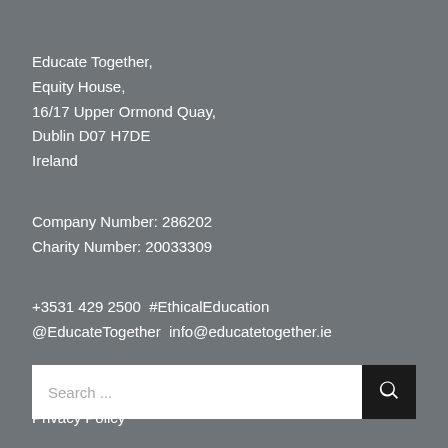Educate Together,
Equity House,
16/17 Upper Ormond Quay,
Dublin D07 H7DE
Ireland
Company Number: 286202
Charity Number: 20033309
+3531 429 2500  #EthicalEducation
@EducateTogether  info@educatetogether.ie
Search ...
Privacy Policy